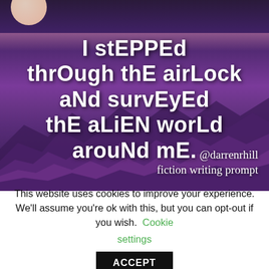[Figure (illustration): A fantasy/sci-fi illustration with purple alien mountain landscape at night, a moon in the upper left, and handwritten-style white text overlaid reading 'I stepped through the airlock and surveyed the alien world around me.' with '@darrenrhill fiction writing prompt' in the lower right.]
This website uses cookies to improve your experience. We'll assume you're ok with this, but you can opt-out if you wish. Cookie settings ACCEPT